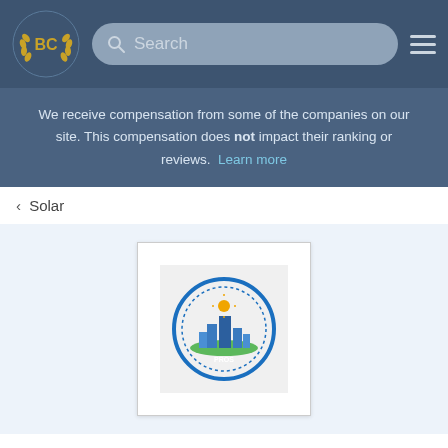BC logo | Search | Menu
We receive compensation from some of the companies on our site. This compensation does not impact their ranking or reviews. Learn more
< Solar
[Figure (logo): Green City Pros circular logo with city skyline and solar panels]
Green City Pros
Is This Your Business?
[Figure (other): Five empty star rating icons]
0 User Reviews